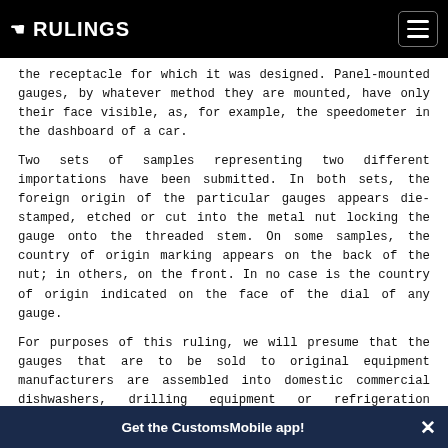RULINGS
the receptacle for which it was designed. Panel-mounted gauges, by whatever method they are mounted, have only their face visible, as, for example, the speedometer in the dashboard of a car.
Two sets of samples representing two different importations have been submitted. In both sets, the foreign origin of the particular gauges appears die-stamped, etched or cut into the metal nut locking the gauge onto the threaded stem. On some samples, the country of origin marking appears on the back of the nut; in others, on the front. In no case is the country of origin indicated on the face of the dial of any gauge.
For purposes of this ruling, we will presume that the gauges that are to be sold to original equipment manufacturers are assembled into domestic commercial dishwashers, drilling equipment or refrigeration equipment.
ISSUE:
Whether imported pressure gauges must be marked with the country
Get the CustomsMobile app!